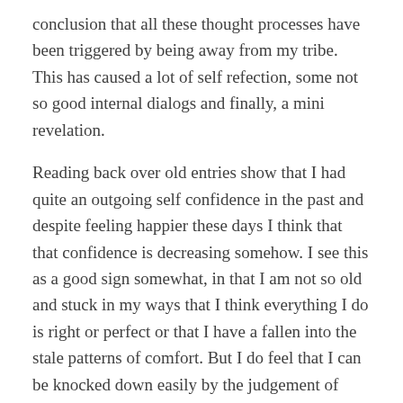conclusion that all these thought processes have been triggered by being away from my tribe. This has caused a lot of self refection, some not so good internal dialogs and finally, a mini revelation.
Reading back over old entries show that I had quite an outgoing self confidence in the past and despite feeling happier these days I think that that confidence is decreasing somehow. I see this as a good sign somewhat, in that I am not so old and stuck in my ways that I think everything I do is right or perfect or that I have a fallen into the stale patterns of comfort. But I do feel that I can be knocked down easily by the judgement of some who don't understand me or my style.
I try my best to fit in wherever I am, but I am just